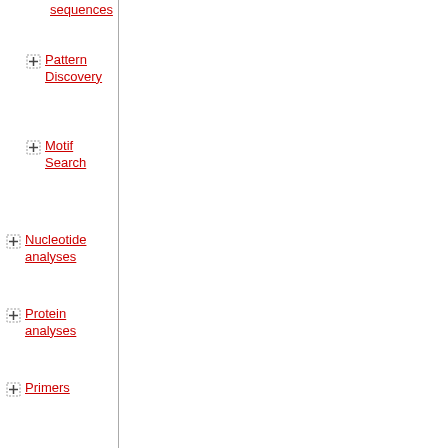sequences
Pattern Discovery
Motif Search
Nucleotide analyses
Protein analyses
Primers
Sequencing data analyses
Cloning and cutting
Sequence alignment
Phylogenetic trees
RNA